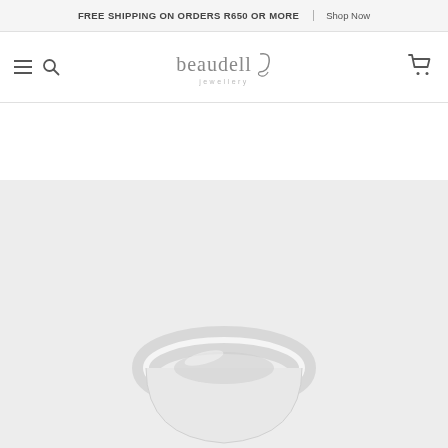FREE SHIPPING ON ORDERS R650 OR MORE  |  Shop Now
[Figure (logo): Beaudell Jewellery logo with stylized cursive 'd' and word 'jewellery' beneath]
[Figure (photo): Product photo showing a silver/white gold ring on light grey background, partially cropped at bottom of page]